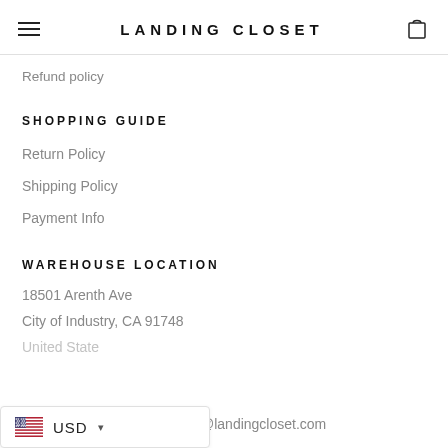LANDING CLOSET
Refund policy
SHOPPING GUIDE
Return Policy
Shipping Policy
Payment Info
WAREHOUSE LOCATION
18501 Arenth Ave
City of Industry, CA 91748
United State
USD
@landingcloset.com